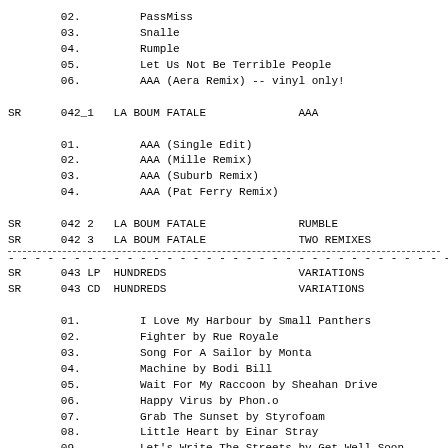02.    PassMiss
03.    Snalle
04.    Rumple
05.    Let Us Not Be Terrible People
06.    AAA (Aera Remix) -- vinyl only!
SR    042_1  LA BOUM FATALE               AAA
01.    AAA (Single Edit)
02.    AAA (Mille Remix)
03.    AAA (Suburb Remix)
04.    AAA (Pat Ferry Remix)
SR    042 2  LA BOUM FATALE               RUMBLE
SR    042 3  LA BOUM FATALE               TWO REMIXES
SR    043 LP HUNDREDS                     VARIATIONS
SR    043 CD HUNDREDS                     VARIATIONS
01.    I Love My Harbour by Small Panthers
02.    Fighter by Rue Royale
03.    Song For A Sailor by Monta
04.    Machine by Bodi Bill
05.    Wait For My Raccoon by Sheahan Drive
06.    Happy Virus by Phon.o
07.    Grab The Sunset by Styrofoam
08.    Little Heart by Einar Stray
09.    Let's Write The Streets by Get Well Soon
10.    Solace by Touchy Mob
SR    044   ME AND MY DRUMMER             THE HAWK, THE BEAK,